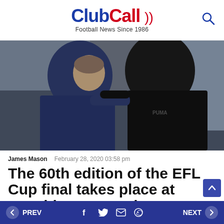ClubCall — Football News Since 1986
[Figure (photo): Two football managers embracing on the pitch, one in a navy blue padded jacket and one in a black Puma padded jacket, with a blurred crowd in the background.]
James Mason   February 28, 2020 03:58 pm
The 60th edition of the EFL Cup final takes place at Wembley on Sunday
PREV  [social icons: Facebook, Twitter, Email, WhatsApp]  NEXT